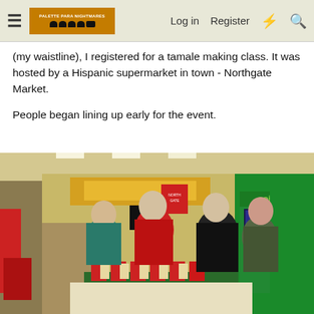Log in  Register
(my waistline), I registered for a tamale making class. It was hosted by a Hispanic supermarket in town - Northgate Market.
People began lining up early for the event.
[Figure (photo): People lining up inside Northgate Market for a tamale making class. A green Coinstar machine is visible on the right side. A long table with red and beige items (tamale supplies) is in the foreground. Several people are standing and talking in the store aisle.]